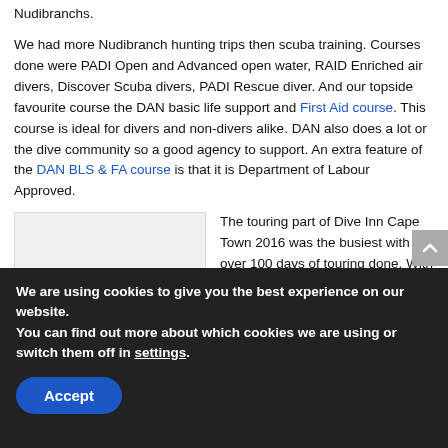Nudibranchs.
We had more Nudibranch hunting trips then scuba training. Courses done were PADI Open and Advanced open water, RAID Enriched air divers, Discover Scuba divers, PADI Rescue diver. And our topside favourite course the DAN basic life support and First Aid course. This course is ideal for divers and non-divers alike. DAN also does a lot or the dive community so a good agency to support. An extra feature of the DAN BLS & FA course is that it is Department of Labour Approved.
[Figure (photo): Placeholder image (light gray rectangle)]
The touring part of Dive Inn Cape Town 2016 was the busiest with over 100 days of touring done. With the Cape Peninsula and Cape
We are using cookies to give you the best experience on our website.
You can find out more about which cookies we are using or switch them off in settings.
Accept